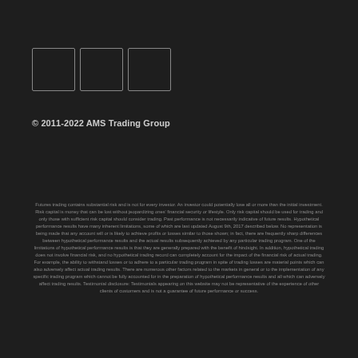[Figure (logo): Three square logo boxes arranged horizontally, outline style with dark background]
© 2011-2022 AMS Trading Group
Futures trading contains substantial risk and is not for every investor. An investor could potentially lose all or more than the initial investment. Risk capital is money that can be lost without jeopardizing ones' financial security or lifestyle. Only risk capital should be used for trading and only those with sufficient risk capital should consider trading. Past performance is not necessarily indicative of future results. Hypothetical performance results have many inherent limitations, some of which are last updated August 9th, 2017 described below. No representation is being made that any account will or is likely to achieve profits or losses similar to those shown; in fact, there are frequently sharp differences between hypothetical performance results and the actual results subsequently achieved by any particular trading program. One of the limitations of hypothetical performance results is that they are generally prepared with the benefit of hindsight. In addition, hypothetical trading does not involve financial risk, and no hypothetical trading record can completely account for the impact of the financial risk of actual trading. For example, the ability to withstand losses or to adhere to a particular trading program in spite of trading losses are material points which can also adversely affect actual trading results. There are numerous other factors related to the markets in general or to the implementation of any specific trading program which cannot be fully accounted for in the preparation of hypothetical performance results and all which can adversely affect trading results. Testimonial disclosure: Testimonials appearing on this website may not be representative of the experience of other clients of customers and is not a guarantee of future performance or success.